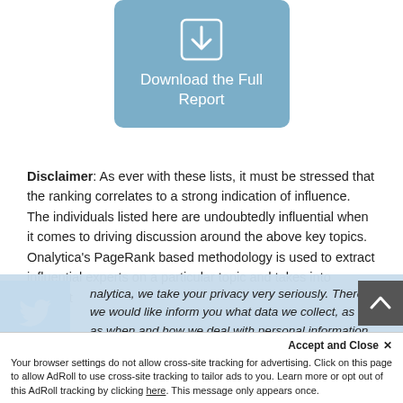[Figure (other): Download the Full Report button with download icon, light blue rounded rectangle]
Disclaimer: As ever with these lists, it must be stressed that the ranking correlates to a strong indication of influence. The individuals listed here are undoubtedly influential when it comes to driving discussion around the above key topics. Onalytica's PageRank based methodology is used to extract influential experts on a particular topic and takes into account
nalytica, we take your privacy very seriously. Therefore we would like inform you what data we collect, as well as when and how we deal with personal information. To learn more, read our Privacy and Cookie Policy. If you have any questions, don't hesitate to contact us.
Accept and Close ✕
Your browser settings do not allow cross-site tracking for advertising. Click on this page to allow AdRoll to use cross-site tracking to tailor ads to you. Learn more or opt out of this AdRoll tracking by clicking here. This message only appears once.